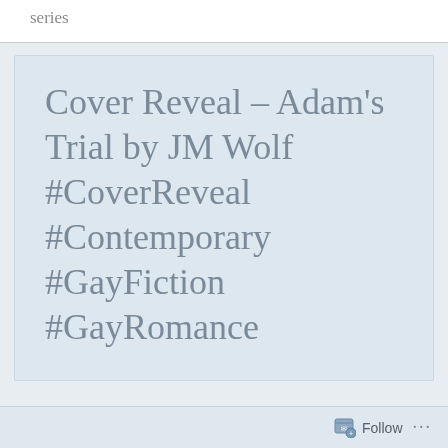series
Cover Reveal – Adam's Trial by JM Wolf #CoverReveal #Contemporary #GayFiction #GayRomance
Follow ...